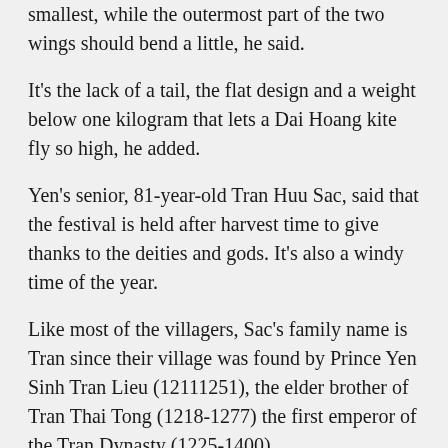smallest, while the outermost part of the two wings should bend a little, he said.
It's the lack of a tail, the flat design and a weight below one kilogram that lets a Dai Hoang kite fly so high, he added.
Yen's senior, 81-year-old Tran Huu Sac, said that the festival is held after harvest time to give thanks to the deities and gods. It's also a windy time of the year.
Like most of the villagers, Sac's family name is Tran since their village was found by Prince Yen Sinh Tran Lieu (12111251), the elder brother of Tran Thai Tong (1218-1277) the first emperor of the Tran Dynasty (1225-1400).
According to the Tran descendant, the kite festival was not held from 1946 and was only revived in 2000, when the local government responded to a petition from the villagers and helped them get it going again. This year it is an integral part of the National Tourism Year Red Delta 2013 campaign.
Said Sac, "Previously, the competition involved only five